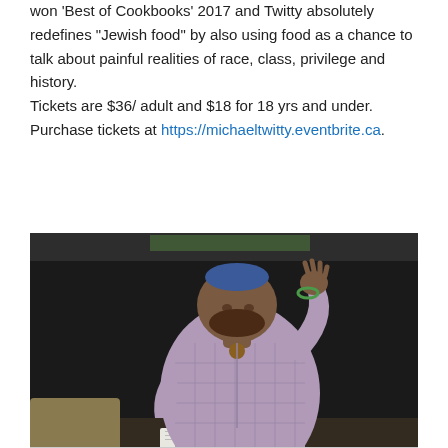won 'Best of Cookbooks' 2017 and Twitty absolutely redefines "Jewish food" by also using food as a chance to talk about painful realities of race, class, privilege and history.
Tickets are $36/ adult and $18 for 18 yrs and under.
Purchase tickets at https://michaeltwitty.eventbrite.ca.
[Figure (photo): A large man wearing a purple/lavender checkered short-sleeve shirt and a blue kippah, speaking or gesturing with his right hand raised, standing in front of a dark background with a projection screen. Papers and a table are visible in the foreground.]